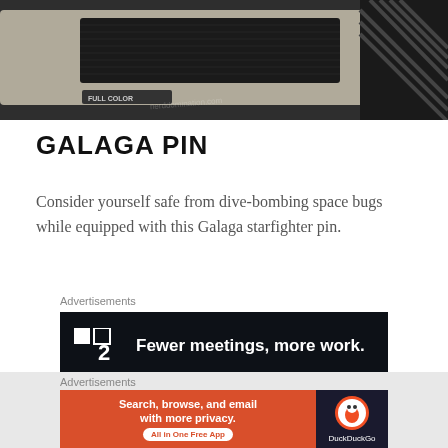[Figure (photo): Close-up photo of a retro gaming device, showing 'FULL COLOR' text and striped design on dark background]
GALAGA PIN
Consider yourself safe from dive-bombing space bugs while equipped with this Galaga starfighter pin.
Advertisements
[Figure (screenshot): Advertisement banner: dark background with logo showing two squares and '2', text reads 'Fewer meetings, more work.']
REPORT THIS AD
[Figure (photo): Partial photo of product being held in hand, showing a rectangular gray device with orange button]
Advertisements
[Figure (screenshot): DuckDuckGo advertisement: orange background with text 'Search, browse, and email with more privacy. All in One Free App' and DuckDuckGo logo on dark right side]